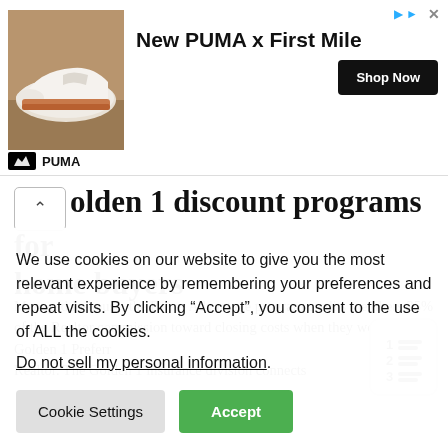[Figure (screenshot): PUMA advertisement banner showing a sneaker image on the left, 'New PUMA x First Mile' text in the center, a 'Shop Now' black button on the right, and PUMA brand logo at the bottom left.]
olden 1 discount programs for home buyers
Managed in-house, the Buyer Advantage program credits members 25% of the Realtor commission toward closing costs when they work with a Golden 1 Preferred Realtor. The Golden 1 insurance division connects
We use cookies on our website to give you the most relevant experience by remembering your preferences and repeat visits. By clicking “Accept”, you consent to the use of ALL the cookies.
Do not sell my personal information.